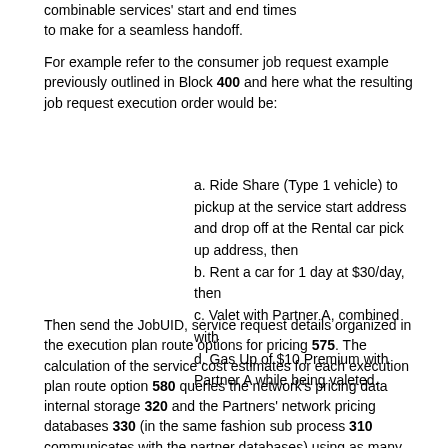combinable services' start and end times to make for a seamless handoff.
For example refer to the consumer job request example previously outlined in Block 400 and here what the resulting job request execution order would be:
a. Ride Share (Type 1 vehicle) to pickup at the service start address and drop off at the Rental car pick up address, then
b. Rent a car for 1 day at $30/day, then
c. Valet with Partner A, combined with
d. Gas Up of $10 Premium with Partner A while being valeted.
Then send the JobUID, service request details organized in the execution plan route options for pricing 575. The calculation of the service cost estimates for each execution plan route option 580 queries the network's pricing data internal storage 320 and the Partners' network pricing databases 330 (in the same fashion sub process 310 communicates with the partner databases) using as many as applicable of the following attributes (but not limited to) as query parameters: